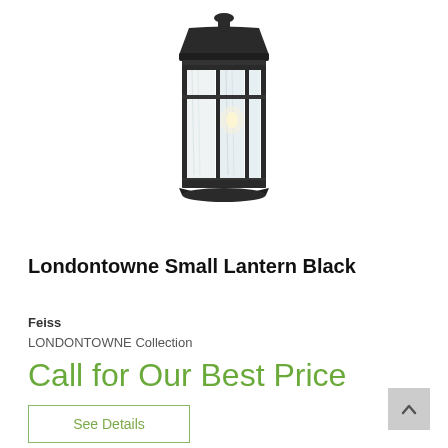[Figure (photo): Feiss Londontowne Small Lantern Black outdoor wall sconce with black metal frame and clear seedy glass panels, shown on white background]
Londontowne Small Lantern Black
Feiss
LONDONTOWNE Collection
Call for Our Best Price
See Details